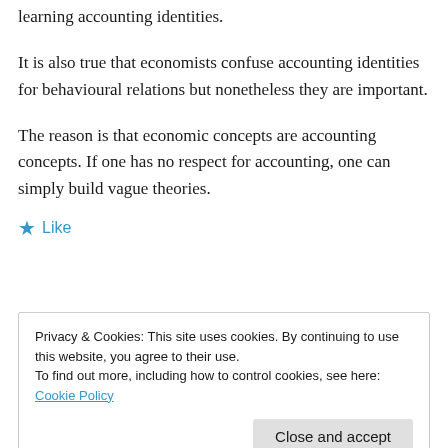learning accounting identities.
It is also true that economists confuse accounting identities for behavioural relations but nonetheless they are important.
The reason is that economic concepts are accounting concepts. If one has no respect for accounting, one can simply build vague theories.
★ Like
Privacy & Cookies: This site uses cookies. By continuing to use this website, you agree to their use.
To find out more, including how to control cookies, see here: Cookie Policy
Close and accept